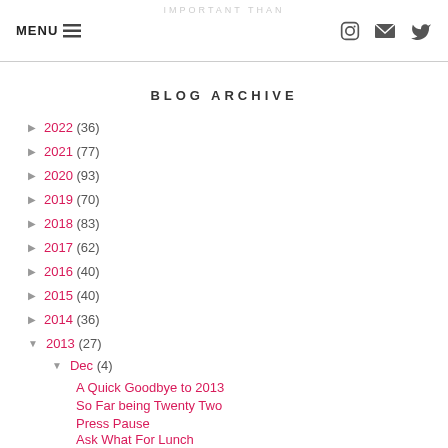MENU | [icons: instagram, email, twitter]
BLOG ARCHIVE
2022 (36)
2021 (77)
2020 (93)
2019 (70)
2018 (83)
2017 (62)
2016 (40)
2015 (40)
2014 (36)
2013 (27)
Dec (4)
A Quick Goodbye to 2013
So Far being Twenty Two
Press Pause
Ask What For Lunch
Nov (1)